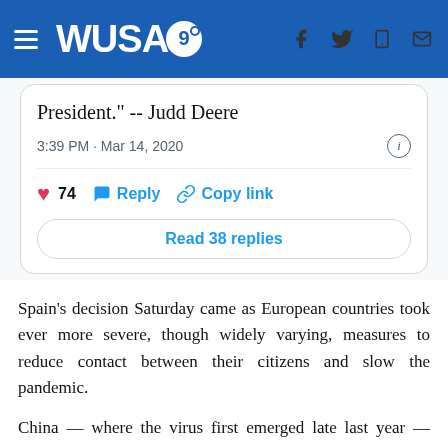WUSA9 header with navigation and social icons
President." -- Judd Deere
3:39 PM · Mar 14, 2020
74   Reply   Copy link
Read 38 replies
Spain's decision Saturday came as European countries took ever more severe, though widely varying, measures to reduce contact between their citizens and slow the pandemic.
China — where the virus first emerged late last year — continued to ease up lockdown measures in its hardest-hit region. Spain's government planned to announce Saturday that it is placing tight restrictions on movement for the nation of 46 million people while declaring a two-week state of emergency. Prime Minister Pedro Sánchez was due...